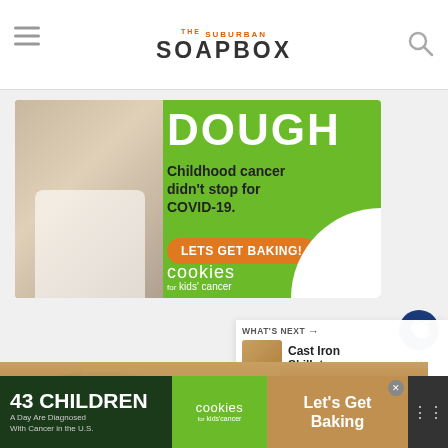THE SUBURBAN SOAPBOX
[Figure (photo): Advertisement banner: Green background with girl holding jar of money. Text reads DOUGH, Childhood cancer didn't stop for COVID-19. LETS GET BAKING! cookies for kids' cancer]
[Figure (infographic): Sidebar with heart/like button showing count of 2 and share button]
[Figure (photo): What's Next: Cast Iron Skillet... with food thumbnail]
[Figure (photo): Food photo - skillet dish]
[Figure (infographic): Bottom advertisement: 43 CHILDREN A Day Are Diagnosed With Cancer in the U.S. - cookies for kids' cancer - Let's Get Baking]